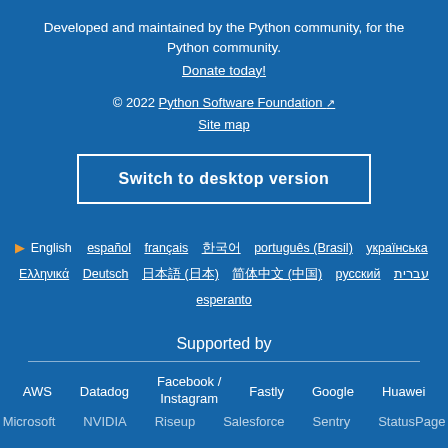Developed and maintained by the Python community, for the Python community.
Donate today!
© 2022 Python Software Foundation ↗
Site map
Switch to desktop version
▶ English  español  français  한국어  português (Brasil)  українська  Ελληνικά  Deutsch  日本語 (日本)  简体中文 (中国)  русский  עברית  esperanto
Supported by
AWS  Datadog  Facebook / Instagram  Fastly  Google  Huawei
Microsoft  NVIDIA  Riseup  Salesforce  Sentry  StatusPage